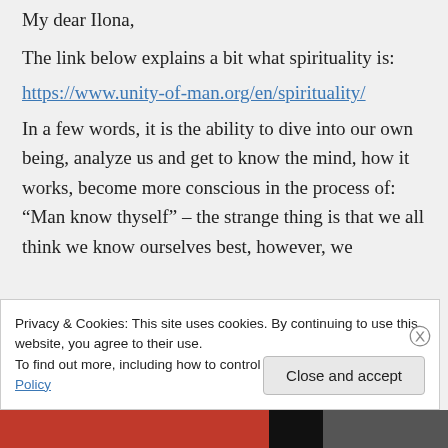My dear Ilona,
The link below explains a bit what spirituality is:
https://www.unity-of-man.org/en/spirituality/
In a few words, it is the ability to dive into our own being, analyze us and get to know the mind, how it works, become more conscious in the process of: “Man know thyself” – the strange thing is that we all think we know ourselves best, however, we
Privacy & Cookies: This site uses cookies. By continuing to use this website, you agree to their use.
To find out more, including how to control cookies, see here: Cookie Policy